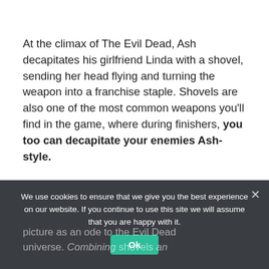At the climax of The Evil Dead, Ash decapitates his girlfriend Linda with a shovel, sending her head flying and turning the weapon into a franchise staple. Shovels are also one of the most common weapons you'll find in the game, where during finishers, you too can decapitate your enemies Ash-style.
We use cookies to ensure that we give you the best experience on our website. If you continue to use this site we will assume that you are happy with it.
Ok